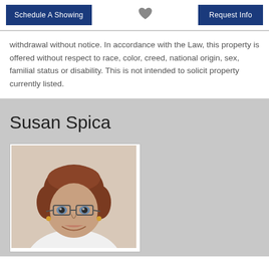Schedule A Showing | [heart] | Request Info
withdrawal without notice. In accordance with the Law, this property is offered without respect to race, color, creed, national origin, sex, familial status or disability. This is not intended to solicit property currently listed.
Susan Spica
[Figure (photo): Professional headshot photo of Susan Spica, a woman with short reddish-brown hair wearing glasses and smiling.]